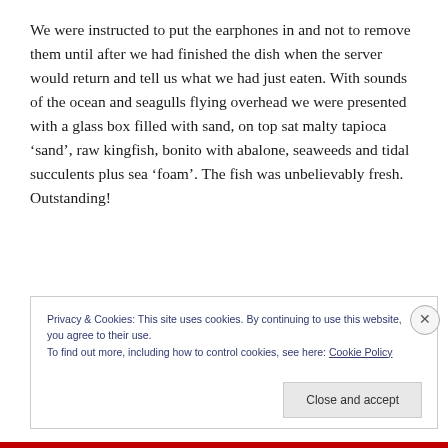We were instructed to put the earphones in and not to remove them until after we had finished the dish when the server would return and tell us what we had just eaten. With sounds of the ocean and seagulls flying overhead we were presented with a glass box filled with sand, on top sat malty tapioca ‘sand’, raw kingfish, bonito with abalone, seaweeds and tidal succulents plus sea ‘foam’. The fish was unbelievably fresh. Outstanding!
Privacy & Cookies: This site uses cookies. By continuing to use this website, you agree to their use.
To find out more, including how to control cookies, see here: Cookie Policy
Close and accept